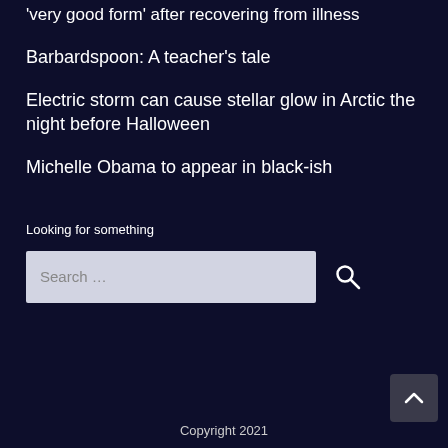'very good form' after recovering from illness
Barbardspoon: A teacher's tale
Electric storm can cause stellar glow in Arctic the night before Halloween
Michelle Obama to appear in black-ish
Looking for something
Search …
Copyright 2021